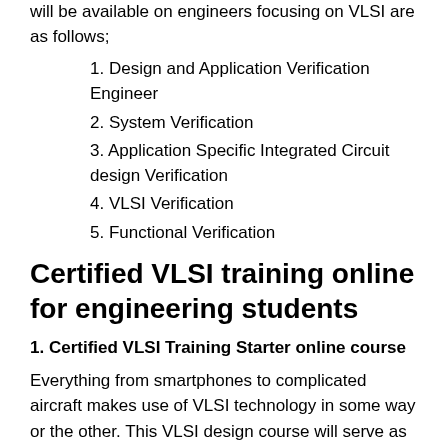will be available on engineers focusing on VLSI are as follows;
1. Design and Application Verification Engineer
2. System Verification
3. Application Specific Integrated Circuit design Verification
4. VLSI Verification
5. Functional Verification
Certified VLSI training online for engineering students
1. Certified VLSI Training Starter online course
Everything from smartphones to complicated aircraft makes use of VLSI technology in some way or the other. This VLSI design course will serve as the best introductory course, as it opens you to the subject. Since the VLSI industry is worth 1.75 trillion dollars, this is a great opportunity for you to further your career. In this online course, students will learn